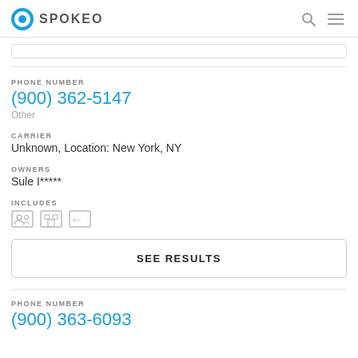SPOKEO
PHONE NUMBER
(900) 362-5147
Other
CARRIER
Unknown, Location: New York, NY
OWNERS
Sule I*****
INCLUDES
SEE RESULTS
PHONE NUMBER
(900) 363-6093